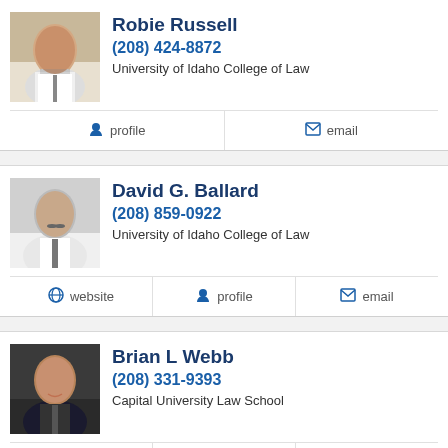[Figure (photo): Headshot photo of Robie Russell, older man in white shirt and tie]
Robie Russell
(208) 424-8872
University of Idaho College of Law
profile
email
[Figure (photo): Headshot photo of David G. Ballard, man with mustache in suit]
David G. Ballard
(208) 859-0922
University of Idaho College of Law
website
profile
email
[Figure (photo): Headshot photo of Brian L Webb, man in suit smiling]
Brian L Webb
(208) 331-9393
Capital University Law School
website
profile
email